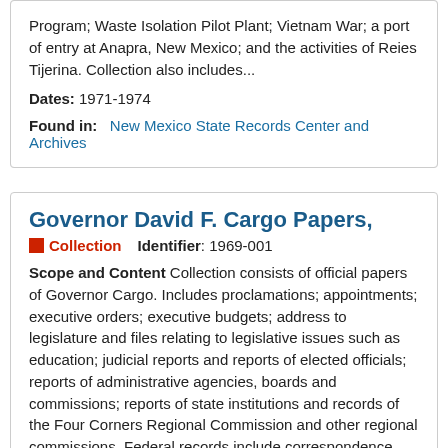Program; Waste Isolation Pilot Plant; Vietnam War; a port of entry at Anapra, New Mexico; and the activities of Reies Tijerina. Collection also includes...
Dates: 1971-1974
Found in:   New Mexico State Records Center and Archives
Governor David F. Cargo Papers,
Collection   Identifier: 1969-001
Scope and Content Collection consists of official papers of Governor Cargo. Includes proclamations; appointments; executive orders; executive budgets; address to legislature and files relating to legislative issues such as education; judicial reports and reports of elected officials; reports of administrative agencies, boards and commissions; reports of state institutions and records of the Four Corners Regional Commission and other regional commissions. Federal records include correspondence with and news clips...
Dates: 1967-1970